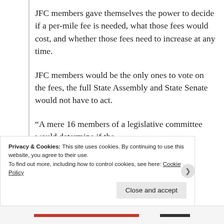JFC members gave themselves the power to decide if a per-mile fee is needed, what those fees would cost, and whether those fees need to increase at any time.
JFC members would be the only ones to vote on the fees, the full State Assembly and State Senate would not have to act.
“A mere 16 members of a legislative committee would determine if the
Privacy & Cookies: This site uses cookies. By continuing to use this website, you agree to their use.
To find out more, including how to control cookies, see here: Cookie Policy